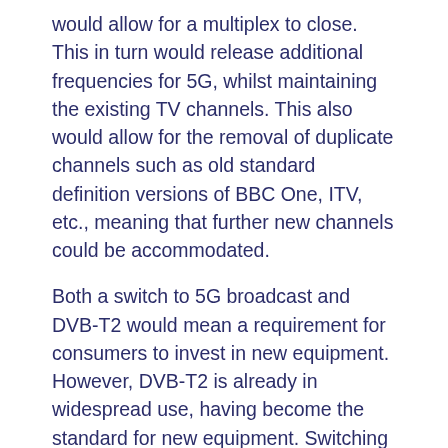would allow for a multiplex to close. This in turn would release additional frequencies for 5G, whilst maintaining the existing TV channels. This also would allow for the removal of duplicate channels such as old standard definition versions of BBC One, ITV, etc., meaning that further new channels could be accommodated.
Both a switch to 5G broadcast and DVB-T2 would mean a requirement for consumers to invest in new equipment. However, DVB-T2 is already in widespread use, having become the standard for new equipment. Switching to 5G broadcast would lead to all existing terrestrial viewers to upgrade equipment, and would also render relatively recent equipment redundant. This would create a significant amount of waste, and place on